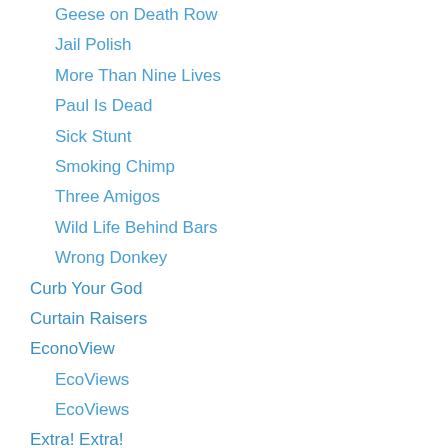Geese on Death Row
Jail Polish
More Than Nine Lives
Paul Is Dead
Sick Stunt
Smoking Chimp
Three Amigos
Wild Life Behind Bars
Wrong Donkey
Curb Your God
Curtain Raisers
EconoView
EcoViews
EcoViews
Extra! Extra!
Newsletter
Page Openers
12 Stories High
A War to Lose
A-Bomb Like No Other